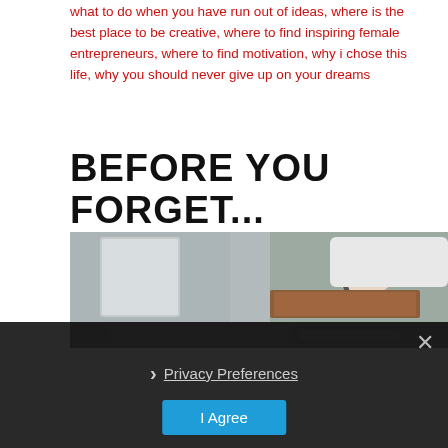what to do when you have run out of ideas, where is the best place to be creative, where to find inspiring female entrepreneurs, where to find motivation, why i chose this life, why you should never give up on your dreams
BEFORE YOU FORGET...
[Figure (photo): A person writing with a pen on a notepad, with a laptop visible in the background, partially overlaid by a dark cookie consent banner.]
Privacy Preferences
I Agree